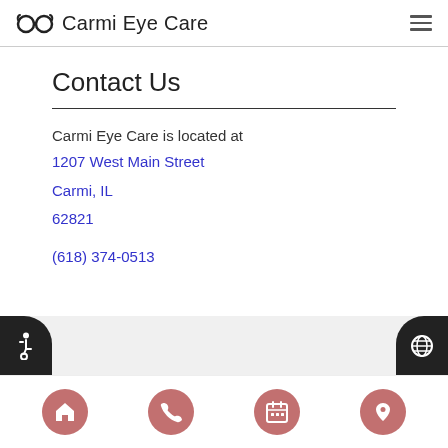Carmi Eye Care
Contact Us
Carmi Eye Care is located at
1207 West Main Street
Carmi, IL
62821
(618) 374-0513
Navigation icons: home, phone, calendar, location